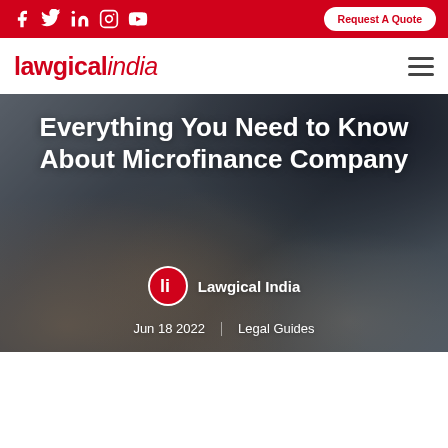Social icons: Facebook, Twitter, LinkedIn, Instagram, YouTube | Request A Quote button
[Figure (logo): Lawgical India logo in red text]
[Figure (photo): Background photo of people shaking hands over business documents]
Everything You Need to Know About Microfinance Company
Lawgical India
Jun 18 2022  Legal Guides